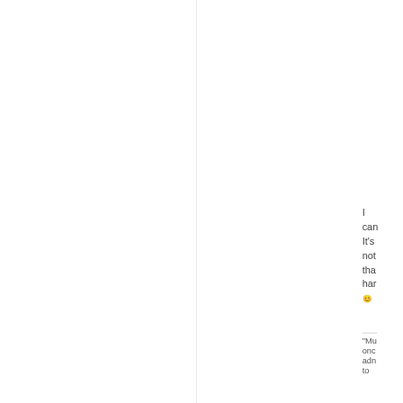I can It's not tha har 😊 — "Mu onc adn to